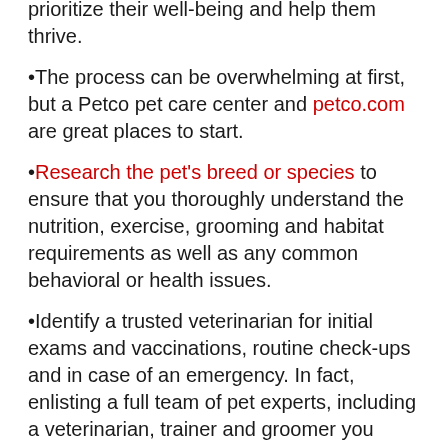prioritize their well-being and help them thrive.
•The process can be overwhelming at first, but a Petco pet care center and petco.com are great places to start.
•Research the pet's breed or species to ensure that you thoroughly understand the nutrition, exercise, grooming and habitat requirements as well as any common behavioral or health issues.
•Identify a trusted veterinarian for initial exams and vaccinations, routine check-ups and in case of an emergency. In fact, enlisting a full team of pet experts, including a veterinarian, trainer and groomer you trust, such as those at Petco pet care centers, can help you feel confident throughout every milestone.
•No pet parent likes to think about a pet going missing, but it's important to note there are resources at Petco and at petco.com to help...